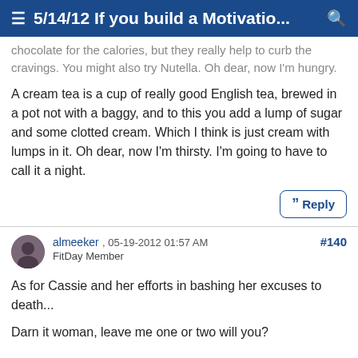≡ 5/14/12 If you build a Motivatio... 🔍
chocolate for the calories, but they really help to curb the cravings. You might also try Nutella. Oh dear, now I'm hungry.
A cream tea is a cup of really good English tea, brewed in a pot not with a baggy, and to this you add a lump of sugar and some clotted cream. Which I think is just cream with lumps in it. Oh dear, now I'm thirsty. I'm going to have to call it a night.
almeeker , 05-19-2012 01:57 AM
FitDay Member
#140
As for Cassie and her efforts in bashing her excuses to death...
Darn it woman, leave me one or two will you?